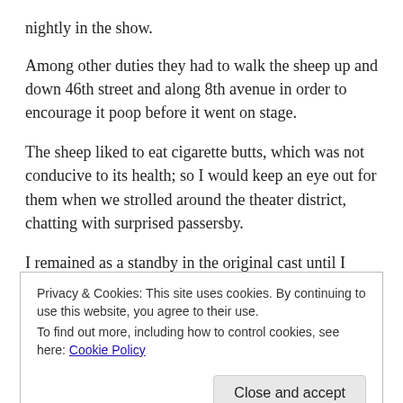nightly in the show.
Among other duties they had to walk the sheep up and down 46th street and along 8th avenue in order to encourage it poop before it went on stage.
The sheep liked to eat cigarette butts, which was not conducive to its health; so I would keep an eye out for them when we strolled around the theater district, chatting with surprised passersby.
I remained as a standby in the original cast until I grew too large for the role. (Theo enters in the second being carried on the
Privacy & Cookies: This site uses cookies. By continuing to use this website, you agree to their use.
To find out more, including how to control cookies, see here: Cookie Policy

Close and accept